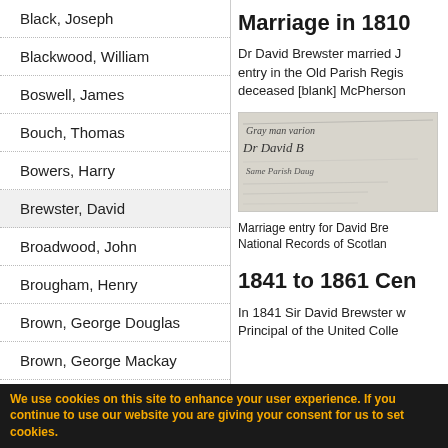Black, Joseph
Blackwood, William
Boswell, James
Bouch, Thomas
Bowers, Harry
Brewster, David
Broadwood, John
Brougham, Henry
Brown, George Douglas
Brown, George Mackay
Brown, John
Buchan, Alexander
Marriage in 1810
Dr David Brewster married J... entry in the Old Parish Regis... deceased [blank] McPherson...
[Figure (photo): Handwritten historical document/manuscript showing marriage entry for David Brewster]
Marriage entry for David Bre... National Records of Scotlan...
1841 to 1861 Cen...
In 1841 Sir David Brewster w... Principal of the United Colle...
We use cookies on this site to enhance your user experience. If you continue to use our website you are giving your consent for us to set cookies.